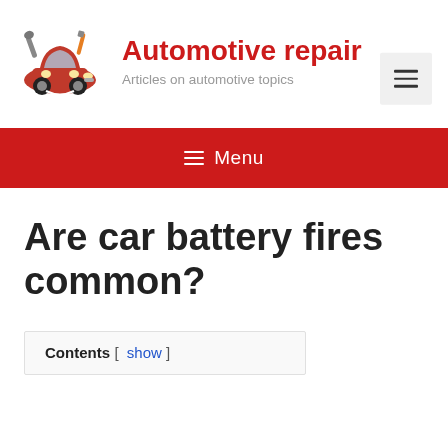[Figure (illustration): Cartoon illustration of a red car with tools]
Automotive repair
Articles on automotive topics
≡ Menu
Are car battery fires common?
Contents [ show ]